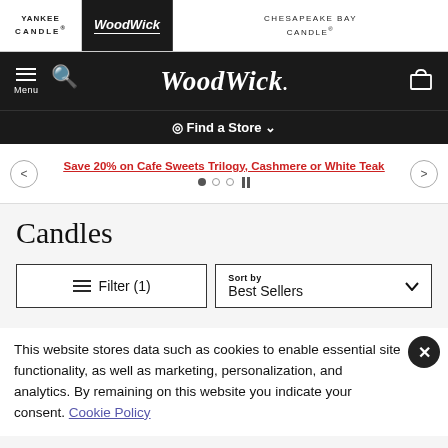Yankee Candle | WoodWick | Chesapeake Bay Candle®
[Figure (screenshot): WoodWick website navigation bar with menu, search, logo, and cart icons on black background]
Find a Store
Save 20% on Cafe Sweets Trilogy, Cashmere or White Teak
Candles
Filter (1)
Sort by Best Sellers
This website stores data such as cookies to enable essential site functionality, as well as marketing, personalization, and analytics. By remaining on this website you indicate your consent. Cookie Policy